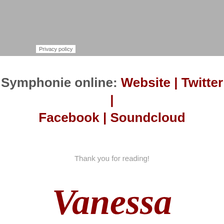[Figure (other): Gray banner at top of page]
Privacy policy
Symphonie online: Website | Twitter | Facebook | Soundcloud
Thank you for reading!
[Figure (illustration): Cursive script signature reading 'Vanessa' in dark red]